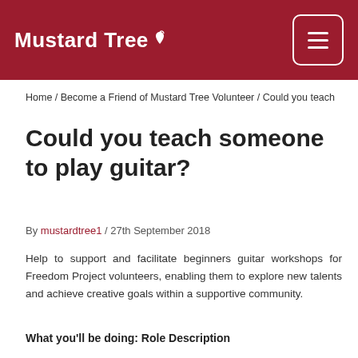Mustard Tree
Home / Become a Friend of Mustard Tree Volunteer / Could you teach
Could you teach someone to play guitar?
By mustardtree1 / 27th September 2018
Help to support and facilitate beginners guitar workshops for Freedom Project volunteers, enabling them to explore new talents and achieve creative goals within a supportive community.
What you'll be doing: Role Description